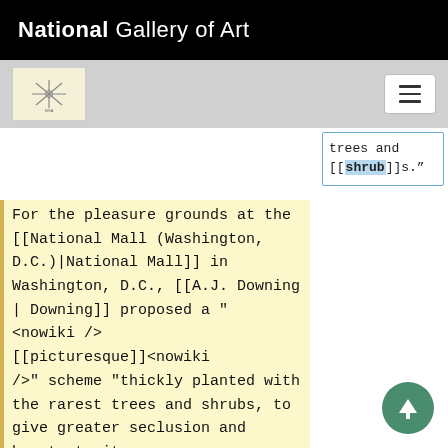National Gallery of Art
trees and [[shrub]]s.”
For the pleasure grounds at the [[National Mall (Washington, D.C.)|National Mall]] in Washington, D.C., [[A.J. Downing | Downing]] proposed a "<nowiki /> [[picturesque]]<nowiki />" scheme "thickly planted with the rarest trees and shrubs, to give greater seclusion and beauty to its